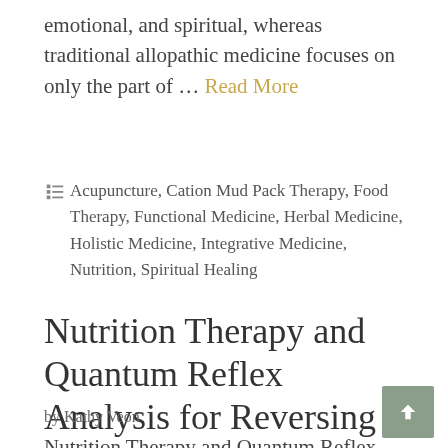emotional, and spiritual, whereas traditional allopathic medicine focuses on only the part of … Read More
Acupuncture, Cation Mud Pack Therapy, Food Therapy, Functional Medicine, Herbal Medicine, Holistic Medicine, Integrative Medicine, Nutrition, Spiritual Healing
Nutrition Therapy and Quantum Reflex Analysis for Reversing Illness
by Kathy Veon
Nutrition Therapy and Quantum Reflex Analysis  for Reversing Illness Good health is